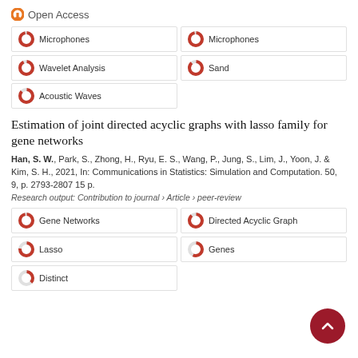Open Access
Microphones
Microphones
Wavelet Analysis
Sand
Acoustic Waves
Estimation of joint directed acyclic graphs with lasso family for gene networks
Han, S. W., Park, S., Zhong, H., Ryu, E. S., Wang, P., Jung, S., Lim, J., Yoon, J. & Kim, S. H., 2021, In: Communications in Statistics: Simulation and Computation. 50, 9, p. 2793-2807 15 p.
Research output: Contribution to journal › Article › peer-review
Gene Networks
Directed Acyclic Graph
Lasso
Genes
Distinct